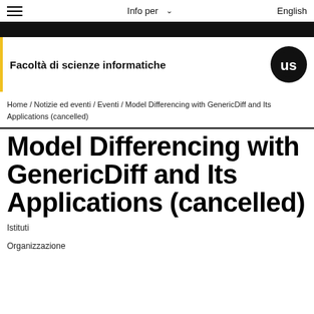Info per   English
Facoltà di scienze informatiche
Home / Notizie ed eventi / Eventi / Model Differencing with GenericDiff and Its Applications (cancelled)
Model Differencing with GenericDiff and Its Applications (cancelled)
Istituti
Organizzazione